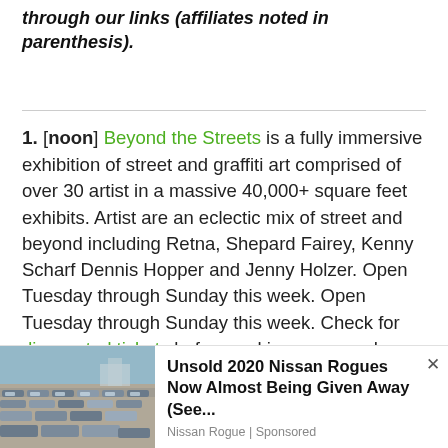through our links (affiliates noted in parenthesis).
1. [noon] Beyond the Streets is a fully immersive exhibition of street and graffiti art comprised of over 30 artist in a massive 40,000+ square feet exhibits. Artist are an eclectic mix of street and beyond including Retna, Shepard Fairey, Kenny Scharf Dennis Hopper and Jenny Holzer. Open Tuesday through Sunday this week. Open Tuesday through Sunday this week. Check for discounted tickets before making your purchase. On
[Figure (photo): Ad photo showing a parking lot full of unsold Nissan Rogue SUVs]
Unsold 2020 Nissan Rogues Now Almost Being Given Away (See...